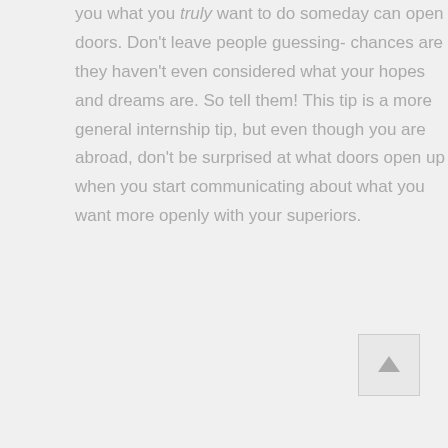you what you truly want to do someday can open doors. Don't leave people guessing- chances are they haven't even considered what your hopes and dreams are. So tell them! This tip is a more general internship tip, but even though you are abroad, don't be surprised at what doors open up when you start communicating about what you want more openly with your superiors.
[Figure (other): A scroll-to-top button with an upward arrow icon, positioned in the bottom-right corner]